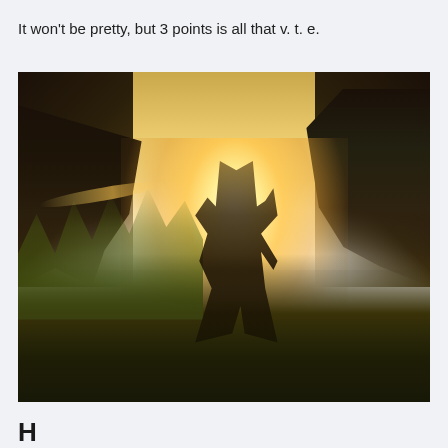It won't be pretty, but 3 points is all that v. t. e.
[Figure (photo): A person standing in a field facing away from the camera toward a bright sunset, with silhouetted trees on both sides and tall grasses in the foreground. Strong lens flare from the sun.]
H